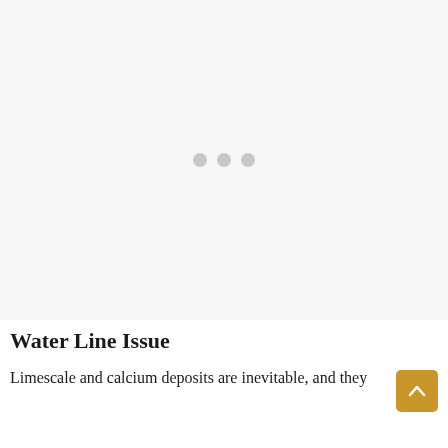[Figure (photo): Loading placeholder with three light gray dots on a light gray/white background, indicating an image is loading.]
Water Line Issue
Limescale and calcium deposits are inevitable, and they